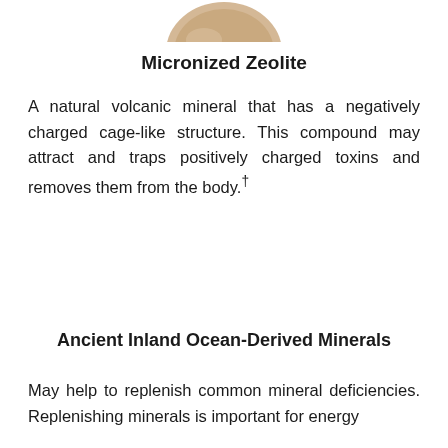[Figure (photo): Partial view of a round beige/tan capsule or supplement pill against a white background, cropped at top of page]
Micronized Zeolite
A natural volcanic mineral that has a negatively charged cage-like structure. This compound may attract and traps positively charged toxins and removes them from the body.†
Ancient Inland Ocean-Derived Minerals
May help to replenish common mineral deficiencies. Replenishing minerals is important for energy